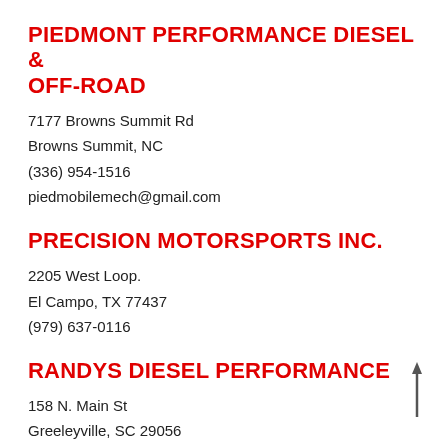PIEDMONT PERFORMANCE DIESEL & OFF-ROAD
7177 Browns Summit Rd
Browns Summit, NC
(336) 954-1516
piedmobilemech@gmail.com
PRECISION MOTORSPORTS INC.
2205 West Loop.
El Campo, TX 77437
(979) 637-0116
RANDYS DIESEL PERFORMANCE
158 N. Main St
Greeleyville, SC 29056
(803) 840-0620